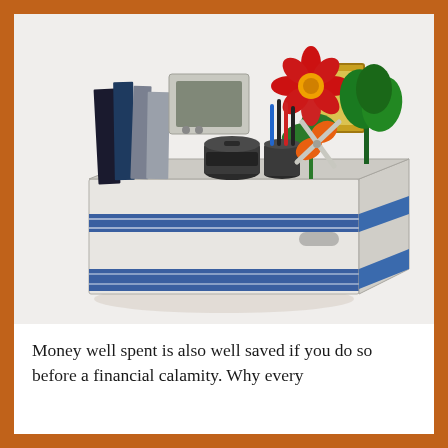[Figure (photo): A white cardboard banker's box with blue stripe, filled with office items: books, folders, a laptop, a coffee cup, a pen holder with scissors and pens, a red gerbera daisy plant, a framed picture, and green plants — suggesting someone clearing out their desk]
Money well spent is also well saved if you do so before a financial calamity. Why every